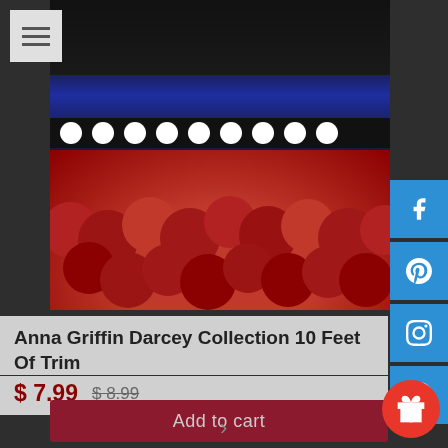[Figure (photo): Product photo showing Anna Griffin Darcey Collection trim with red pom poms, blue and black fabric layers, and white dot trim]
Anna Griffin Darcey Collection 10 Feet Of Trim
$ 7.99  $ 8.99
Add to cart